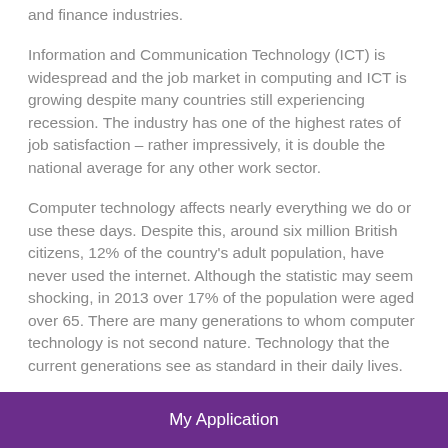and finance industries.
Information and Communication Technology (ICT) is widespread and the job market in computing and ICT is growing despite many countries still experiencing recession. The industry has one of the highest rates of job satisfaction – rather impressively, it is double the national average for any other work sector.
Computer technology affects nearly everything we do or use these days. Despite this, around six million British citizens, 12% of the country's adult population, have never used the internet. Although the statistic may seem shocking, in 2013 over 17% of the population were aged over 65. There are many generations to whom computer technology is not second nature. Technology that the current generations see as standard in their daily lives.
My Application